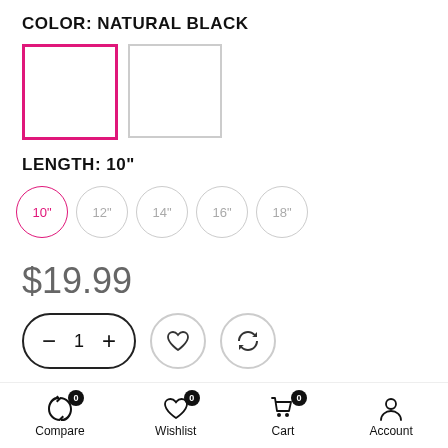COLOR: NATURAL BLACK
[Figure (other): Two color swatch squares: first selected with pink border, second unselected with gray border]
LENGTH: 10"
10"  12"  14"  16"  18"
$19.99
[Figure (other): Quantity selector showing minus button, 1, plus button, heart icon button, refresh/compare icon button]
[Figure (other): Add to Cart button with pink background and white cart icon circle on left]
Compare 0   Wishlist 0   Cart 0   Account